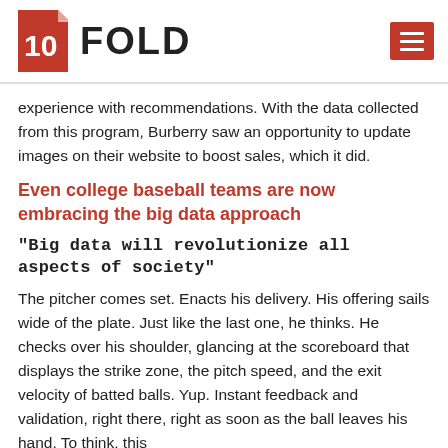10FOLD
experience with recommendations. With the data collected from this program, Burberry saw an opportunity to update images on their website to boost sales, which it did.
Even college baseball teams are now embracing the big data approach
“Big data will revolutionize all aspects of society”
The pitcher comes set. Enacts his delivery. His offering sails wide of the plate. Just like the last one, he thinks. He checks over his shoulder, glancing at the scoreboard that displays the strike zone, the pitch speed, and the exit velocity of batted balls. Yup. Instant feedback and validation, right there, right as soon as the ball leaves his hand. To think, this